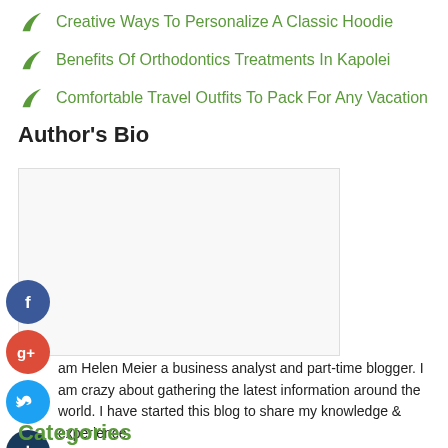Creative Ways To Personalize A Classic Hoodie
Benefits Of Orthodontics Treatments In Kapolei
Comfortable Travel Outfits To Pack For Any Vacation
Author's Bio
[Figure (other): White box with profile image placeholder]
[Figure (other): Social media icons: Facebook (blue circle), Google+ (red circle), Twitter (blue circle), plus button (dark circle)]
I am Helen Meier a business analyst and part-time blogger. I am crazy about gathering the latest information around the world. I have started this blog to share my knowledge & experience.
Categories